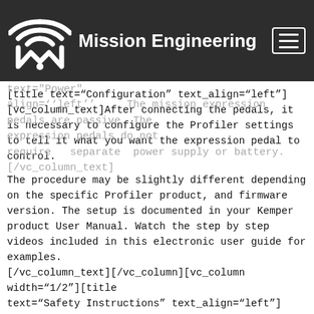Mission Engineering
type. The switch will still be operating even though no audible click is heard. The Profiler requires a momentary switch for connection.[/vc_column_text][ title text="Power" align="left"] The mission expression pedals are passive. The expression pedals do not require a separate power supply or battery.[/vc_column_text]
[title text="Configuration" text_align="left"][vc_column_text]After connecting the pedals, it is necessary to configure the Profiler settings to tell it what you want the expression pedal to control.
The procedure may be slightly different depending on the specific Profiler product, and firmware version. The setup is documented in your Kemper product User Manual. Watch the step by step videos included in this electronic user guide for examples. [/vc_column_text][/vc_column][vc_column width="1/2"][title text="Safety Instructions" text_align="left"] [vc_column_text]Read, Keep & Follow these instructions Heed all warnings Clean only with dry cloth